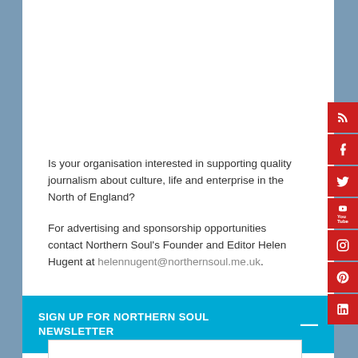Is your organisation interested in supporting quality journalism about culture, life and enterprise in the North of England?
For advertising and sponsorship opportunities contact Northern Soul's Founder and Editor Helen Hugent at helennugent@northernsoul.me.uk.
SIGN UP FOR NORTHERN SOUL NEWSLETTER
[Figure (other): Social media sidebar with RSS, Facebook, Twitter, YouTube, Instagram, Pinterest, and LinkedIn icons on red background]